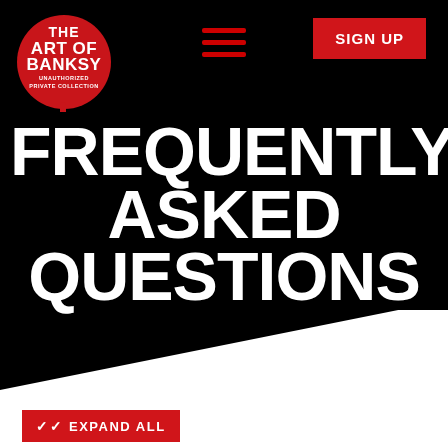[Figure (logo): The Art of Banksy - Unauthorized Private Collection logo: red circle with graffiti-style white text]
[Figure (infographic): Hamburger menu icon with three dark red horizontal lines]
SIGN UP
FREQUENTLY ASKED QUESTIONS
EXPAND ALL